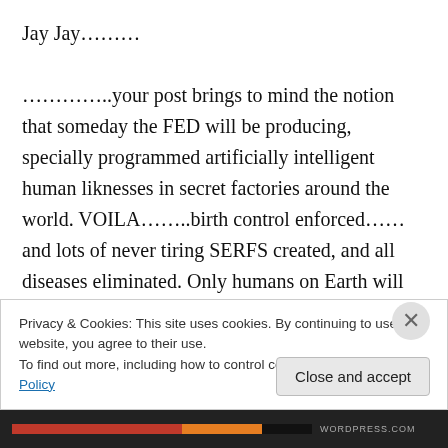Jay Jay………
…………..your post brings to mind the notion that someday the FED will be producing, specially programmed artificially intelligent human liknesses in secret factories around the world. VOILA……..birth control enforced……and lots of never tiring SERFS created, and all diseases eliminated. Only humans on Earth will be the CHOSEN ONES………..who will be GOD OF UTOPIA and his/her successors. (foregoing is Hollywood type of fantasy) har har
Privacy & Cookies: This site uses cookies. By continuing to use this website, you agree to their use.
To find out more, including how to control cookies, see here: Cookie Policy